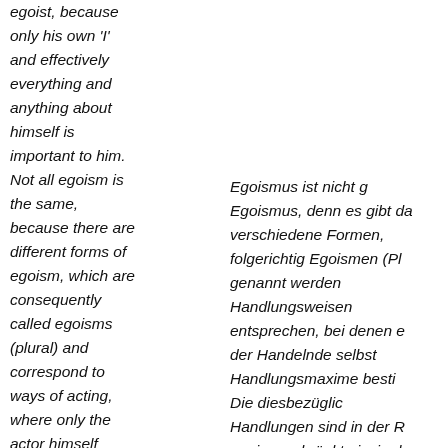egoist, because only his own 'I' and effectively everything and anything about himself is important to him. Not all egoism is the same, because there are different forms of egoism, which are consequently called egoisms (plural) and correspond to ways of acting, where only the actor himself determines the
Egoismus ist nicht g... Egoismus, denn es gibt da... verschiedene Formen, folgerichtig Egoismen (Pl... genannt werden Handlungsweisen entsprechen, bei denen e... der Handelnde selbst Handlungsmaxime bestin... Die diesbezüglic... Handlungen sind in der R... uneingeschränkt einzig d... den eigenen Vorteil